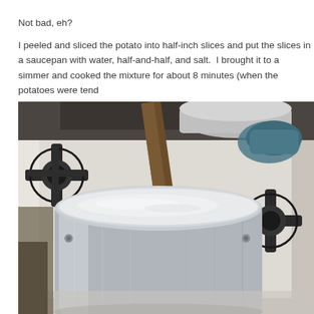Not bad, eh?

I peeled and sliced the potato into half-inch slices and put the slices in a saucepan with water, half-and-half, and salt.  I brought it to a simmer and cooked the mixture for about 8 minutes (when the potatoes were tend...
[Figure (photo): A large stainless steel saucepan filled with a white milky liquid (water and half-and-half mixture) sitting on a gas stove. The stove is white with black cast iron grates. A wooden spoon or utensil is visible behind the pot, and there is a blue and green oven mitt visible in the upper right area.]